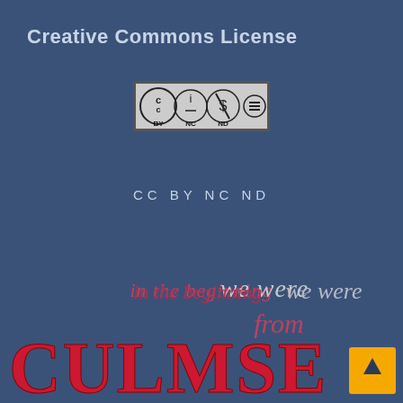Creative Commons License
[Figure (logo): Creative Commons CC BY NC ND license badge with four circular icons]
CC BY NC ND
[Figure (illustration): Decorative text reading 'in the beginning we were from' in italic crimson/red script, followed by large bold red letters 'CULMSEL' with a gold arrow icon]